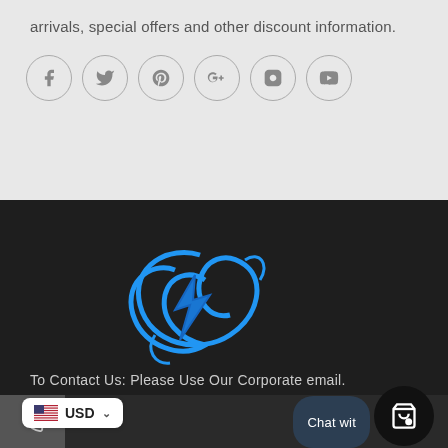arrivals, special offers and other discount information.
[Figure (illustration): Row of 6 circular social media icon buttons: Facebook (f), Twitter (bird), Pinterest (P), Google+ (G+), Instagram (camera), YouTube (play button). Gray outlines on light gray background.]
[Figure (logo): A stylized blue logo resembling intertwined letters on a dark background — the RockDeep brand logo in blue swirl design.]
To Contact Us: Please Use Our Corporate email.
Chat wit
USD
startROCKDEEP.com